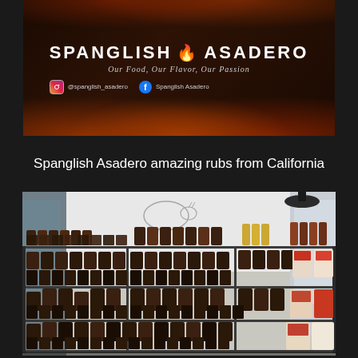[Figure (photo): Photo of Spanglish Asadero branded sign/board with flame graphics, showing brand name, tagline 'Our Food, Our Flavor, Our Passion', Instagram handle @spanglish_asadero, and Facebook page Spanglish Asadero]
Spanglish Asadero amazing rubs from California
[Figure (photo): Photo of a retail store shelf display filled with multiple rows of Spanglish Asadero spice rubs, sauces, and condiment jars and bottles, with a cow butcher diagram on the wall in the background]